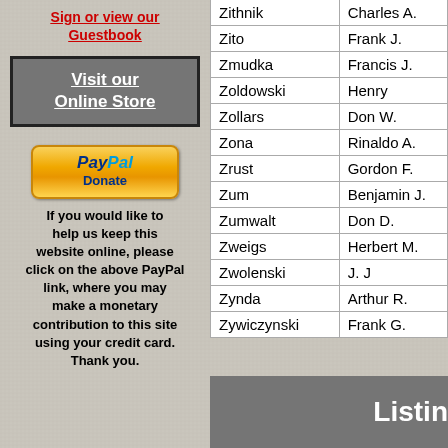Sign or view our Guestbook
Visit our Online Store
[Figure (other): PayPal Donate button - golden/yellow rounded rectangle button with PayPal logo and Donate text]
If you would like to help us keep this website online, please click on the above PayPal link, where you may make a monetary contribution to this site using your credit card. Thank you.
| Last Name | First Name |
| --- | --- |
| Zithnik | Charles A. |
| Zito | Frank J. |
| Zmudka | Francis J. |
| Zoldowski | Henry |
| Zollars | Don W. |
| Zona | Rinaldo A. |
| Zrust | Gordon F. |
| Zum | Benjamin J. |
| Zumwalt | Don D. |
| Zweigs | Herbert M. |
| Zwolenski | J. J |
| Zynda | Arthur R. |
| Zywiczynski | Frank G. |
Listin